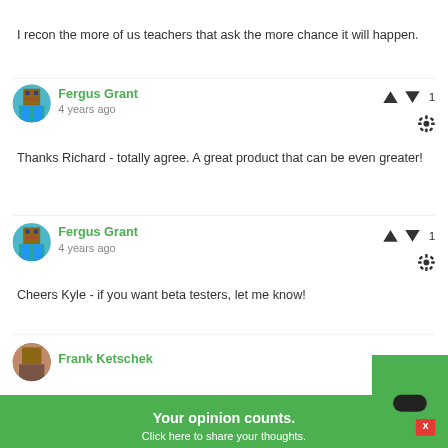I recon the more of us teachers that ask the more chance it will happen.
Fergus Grant
4 years ago
Thanks Richard - totally agree. A great product that can be even greater!
Fergus Grant
4 years ago
Cheers Kyle - if you want beta testers, let me know!
Frank Ketschek
Your opinion counts. Click here to share your thoughts.